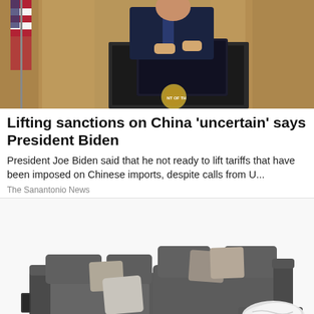[Figure (photo): Person at a podium with a presidential seal, American flag in background, warm golden curtain backdrop]
Lifting sanctions on China 'uncertain' says President Biden
President Joe Biden said that he not ready to lift tariffs that have been imposed on Chinese imports, despite calls from U...
The Sanantonio News
[Figure (photo): Modern dark gray L-shaped sectional sofa with reclining chaise, decorative pillows in gray tones, and a white faux fur throw blanket on the extended chaise portion]